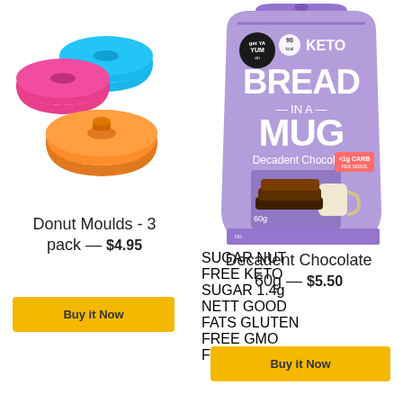[Figure (photo): Three silicone donut moulds in pink, blue, and orange colors]
Donut Moulds - 3 pack — $4.95
Buy it Now
[Figure (photo): Keto Bread in a Mug Decadent Chocolate 60g product bag in purple with image of chocolate bread and mug]
Decadent Chocolate 60g — $5.50
Buy it Now